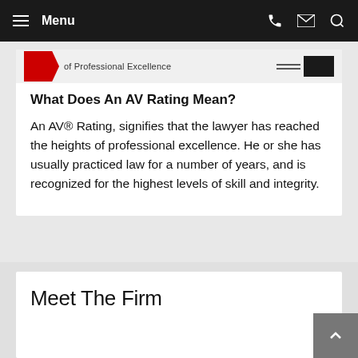Menu
[Figure (logo): Partial AV rating badge showing red chevron shape and text 'of Professional Excellence' with dark box element]
What Does An AV Rating Mean?
An AV® Rating, signifies that the lawyer has reached the heights of professional excellence. He or she has usually practiced law for a number of years, and is recognized for the highest levels of skill and integrity.
Meet The Firm